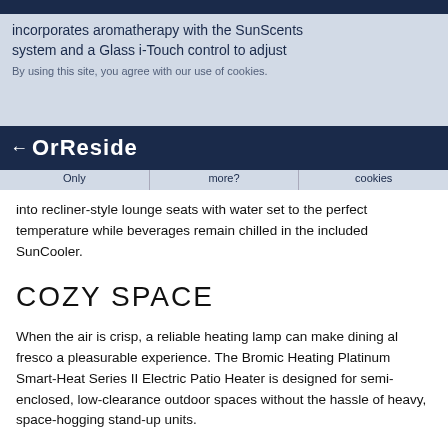INTERNATIONAL REALTY
incorporates aromatherapy with the SunScents system and a Glass i-Touch control to adjust
By using this site, you agree with our use of cookies.
Reside
Required Only
Want to know more?
I consent to cookies
into recliner-style lounge seats with water set to the perfect temperature while beverages remain chilled in the included SunCooler.
COZY SPACE
When the air is crisp, a reliable heating lamp can make dining al fresco a pleasurable experience. The Bromic Heating Platinum Smart-Heat Series II Electric Patio Heater is designed for semi-enclosed, low-clearance outdoor spaces without the hassle of heavy, space-hogging stand-up units.
The heater is made from stainless steel with a